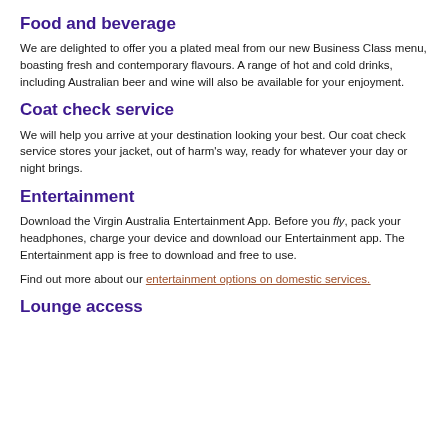Food and beverage
We are delighted to offer you a plated meal from our new Business Class menu, boasting fresh and contemporary flavours. A range of hot and cold drinks, including Australian beer and wine will also be available for your enjoyment.
Coat check service
We will help you arrive at your destination looking your best. Our coat check service stores your jacket, out of harm’s way, ready for whatever your day or night brings.
Entertainment
Download the Virgin Australia Entertainment App. Before you fly, pack your headphones, charge your device and download our Entertainment app. The Entertainment app is free to download and free to use.
Find out more about our entertainment options on domestic services.
Lounge access